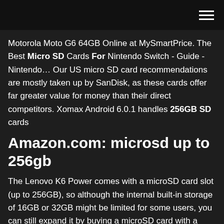Motorola Moto G6 64GB Online at MySmartPrice. The Best Micro SD Cards For Nintendo Switch - Guide - Nintendo… Our US micro SD card recommendations are mostly taken up by SanDisk, as these cards offer far greater value for money than their direct competitors. Xomax Android 6.0.1 handles 256GB SD cards
Amazon.com: microsd up to 256gb
The Lenovo K6 Power comes with a microSD card slot (up to 256GB), so although the internal built-in storage of 16GB or 32GB might be limited for some users, you can still expand it by buying a microSD card with a higher capacity and use